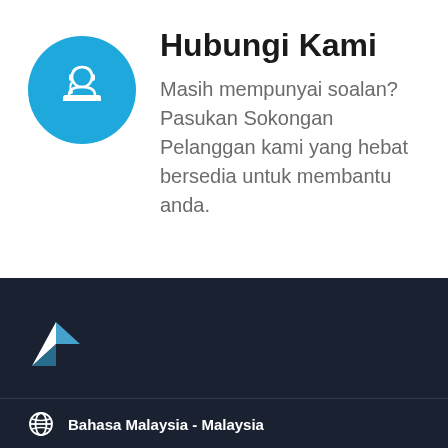[Figure (illustration): Blue circle with white customer support agent icon (person at desk)]
Hubungi Kami
Masih mempunyai soalan? Pasukan Sokongan Pelanggan kami yang hebat bersedia untuk membantu anda.
[Figure (logo): Freelancer/hummingbird logo in white on dark navy background]
Bahasa Malaysia - Malaysia